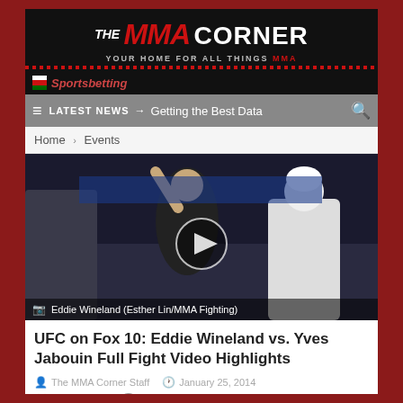[Figure (logo): The MMA Corner logo with red MMA text and tagline YOUR HOME FOR ALL THINGS MMA]
[Figure (other): Sportsbetting advertisement bar with flag icon]
≡  LATEST NEWS → Getting the Best Data  🔍
Home > Events
[Figure (photo): Eddie Wineland with arm raised in victory inside UFC octagon, with play button overlay. Caption: Eddie Wineland (Esther Lin/MMA Fighting)]
UFC on Fox 10: Eddie Wineland vs. Yves Jabouin Full Fight Video Highlights
The MMA Corner Staff   January 25, 2014
Events , Video   0 Comments